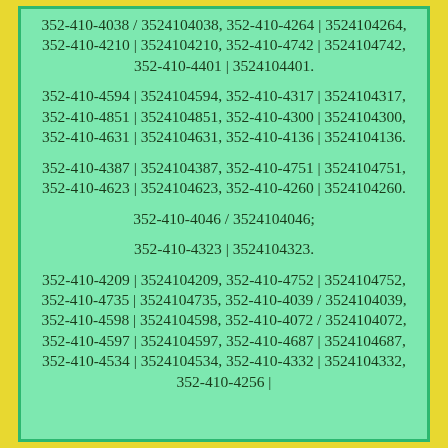352-410-4038 / 3524104038, 352-410-4264 | 3524104264, 352-410-4210 | 3524104210, 352-410-4742 | 3524104742, 352-410-4401 | 3524104401.
352-410-4594 | 3524104594, 352-410-4317 | 3524104317, 352-410-4851 | 3524104851, 352-410-4300 | 3524104300, 352-410-4631 | 3524104631, 352-410-4136 | 3524104136.
352-410-4387 | 3524104387, 352-410-4751 | 3524104751, 352-410-4623 | 3524104623, 352-410-4260 | 3524104260.
352-410-4046 / 3524104046;
352-410-4323 | 3524104323.
352-410-4209 | 3524104209, 352-410-4752 | 3524104752, 352-410-4735 | 3524104735, 352-410-4039 / 3524104039, 352-410-4598 | 3524104598, 352-410-4072 / 3524104072, 352-410-4597 | 3524104597, 352-410-4687 | 3524104687, 352-410-4534 | 3524104534, 352-410-4332 | 3524104332, 352-410-4256 |